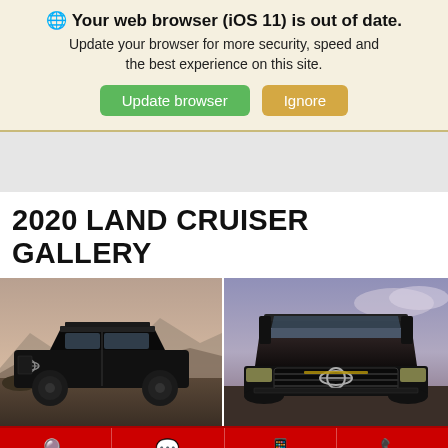🌐 Your web browser (iOS 11) is out of date. Update your browser for more security, speed and the best experience on this site.
Update browser | Ignore
2020 LAND CRUISER GALLERY
[Figure (photo): Two Toyota Land Cruiser SUVs with roof racks photographed outdoors against mountain/sky backgrounds. Left: black Land Cruiser side view. Right: black Land Cruiser front view.]
Search | Chat Now | Text Us | Call Us